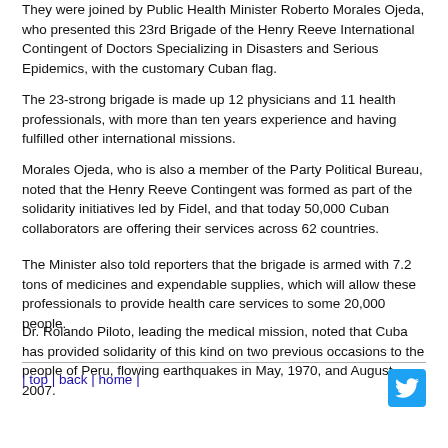They were joined by Public Health Minister Roberto Morales Ojeda, who presented this 23rd Brigade of the Henry Reeve International Contingent of Doctors Specializing in Disasters and Serious Epidemics, with the customary Cuban flag.
The 23-strong brigade is made up 12 physicians and 11 health professionals, with more than ten years experience and having fulfilled other international missions.
Morales Ojeda, who is also a member of the Party Political Bureau, noted that the Henry Reeve Contingent was formed as part of the solidarity initiatives led by Fidel, and that today 50,000 Cuban collaborators are offering their services across 62 countries.
The Minister also told reporters that the brigade is armed with 7.2 tons of medicines and expendable supplies, which will allow these professionals to provide health care services to some 20,000 people.
Dr. Rolando Piloto, leading the medical mission, noted that Cuba has provided solidarity of this kind on two previous occasions to the people of Peru, flowing earthquakes in May, 1970, and August, 2007.
| top | back | home |